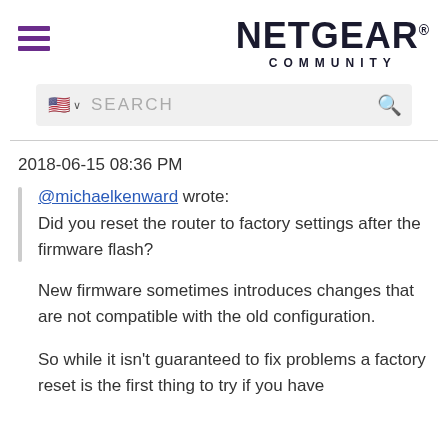NETGEAR COMMUNITY
2018-06-15 08:36 PM
@michaelkenward wrote:
Did you reset the router to factory settings after the firmware flash?

New firmware sometimes introduces changes that are not compatible with the old configuration.

So while it isn't guaranteed to fix problems a factory reset is the first thing to try if you have